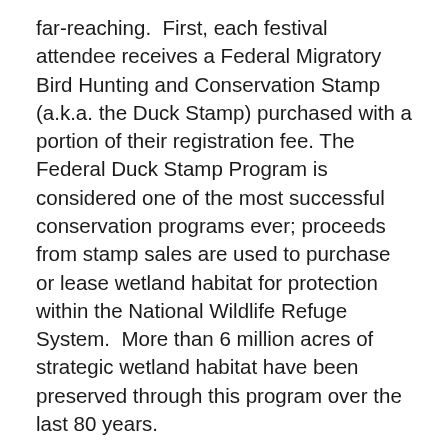far-reaching.  First, each festival attendee receives a Federal Migratory Bird Hunting and Conservation Stamp (a.k.a. the Duck Stamp) purchased with a portion of their registration fee. The Federal Duck Stamp Program is considered one of the most successful conservation programs ever; proceeds from stamp sales are used to purchase or lease wetland habitat for protection within the National Wildlife Refuge System.  More than 6 million acres of strategic wetland habitat have been preserved through this program over the last 80 years.
Second, all bird sightings made during Mountain Bird Festival field trips will be entered into eBird, a real-time, online checklist program that is the fastest growing biological database in the world.  The birding community – simply by uploading bird abundance and distribution data into this program – is contributing to an unprecedented understanding of the dynamic